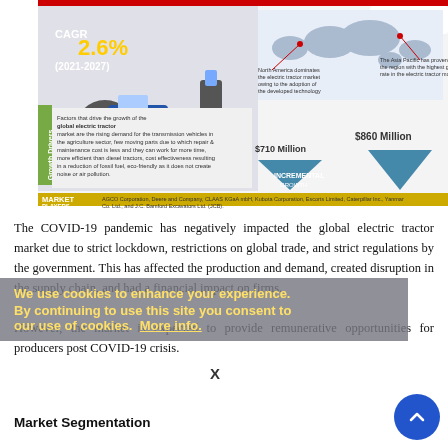[Figure (infographic): Electric tractor market infographic showing CAGR 2.6% (2021-2027), image of blue electric tractor and charging station, world map with regional callouts for North America and Asia Pacific, growth drivers text, incremental growth triangles showing $710 Million (2019) and $860 Million (2027), and market players list including AGCO Corporation, Deere and Company, CLAAS KGaA mbH, Kubota Corporation, Escorts Limited, Caterpillar Inc., Yanmar Co. Ltd., and J.C. Bamford Excavators Ltd. (JCB).]
The COVID-19 pandemic has negatively impacted the global electric tractor market due to strict lockdown, restrictions on global trade, and strict regulations by the government. This has affected the production and demand, created disruption in the supply chain, and had a financial impact on firms. However, the market is expected to provide remunerative opportunities for producers post COVID-19 crisis.
We use cookies to enhance your experience. By continuing to use this site you consent to our use of cookies. More info.
Market Segmentation